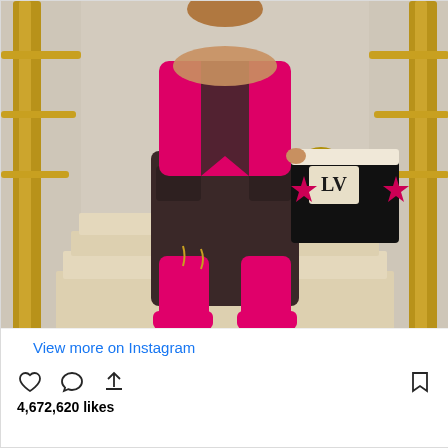[Figure (photo): Person standing on indoor stairs wearing hot pink leather cargo pants, a pink and dark brown color-blocked jacket, hot pink knee-high boots, holding a black Louis Vuitton tote bag with shearling trim and pink monogram flowers. Gold railings visible on both sides. Beige marble stairs in background.]
View more on Instagram
4,672,620 likes